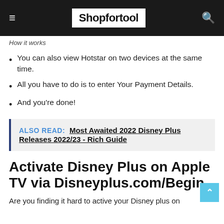Shopfortool
How it works
You can also view Hotstar on two devices at the same time.
All you have to do is to enter Your Payment Details.
And you're done!
ALSO READ: Most Awaited 2022 Disney Plus Releases 2022/23 - Rich Guide
Activate Disney Plus on Apple TV via Disneyplus.com/Begin
Are you finding it hard to active your Disney plus on